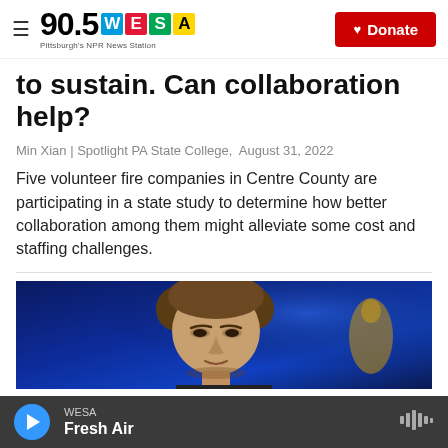90.5 WESA — Pittsburgh's NPR News Station | Donate
to sustain. Can collaboration help?
Min Xian | Spotlight PA State College,  August 31, 2022
Five volunteer fire companies in Centre County are participating in a state study to determine how better collaboration among them might alleviate some cost and staffing challenges.
[Figure (photo): Close-up photograph of a man's face with brown hair against a blue background with a partial golden figure visible.]
WESA Fresh Air